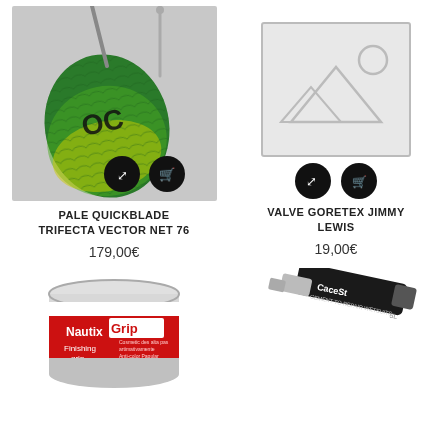[Figure (photo): SUP paddle - Pale Quickblade Trifecta Vector Net 76, green/yellow/black blade on grey background, with expand and add-to-cart icon buttons]
PALE QUICKBLADE TRIFECTA VECTOR NET 76
179,00€
[Figure (photo): Placeholder image (grey frame with mountain/sun icon) for Valve Goretex Jimmy Lewis, with expand and add-to-cart icon buttons]
VALVE GORETEX JIMMY LEWIS
19,00€
[Figure (photo): Nautix Grip Finishing grip paint can, red and white label]
[Figure (photo): CaceSt black tube - cement to repair wetsuits]